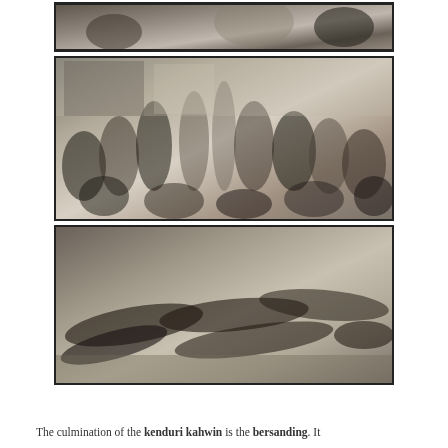[Figure (photo): Black and white photograph showing people outdoors, partial view at top of page]
[Figure (photo): Black and white photograph of a large group of people gathered together, including children and adults, appearing to be at a social gathering or ceremony]
[Figure (photo): Black and white photograph of people lying or resting on the floor/mats, multiple individuals visible]
The culmination of the kenduri kahwin is the bersanding. It